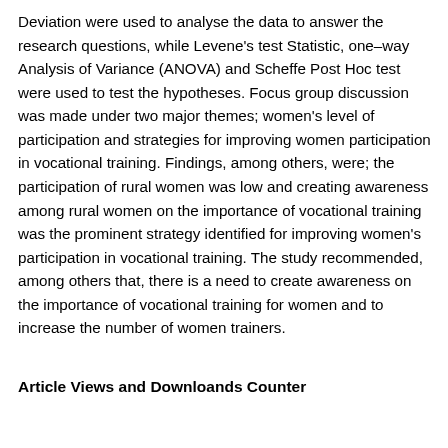Deviation were used to analyse the data to answer the research questions, while Levene's test Statistic, one–way Analysis of Variance (ANOVA) and Scheffe Post Hoc test were used to test the hypotheses. Focus group discussion was made under two major themes; women's level of participation and strategies for improving women participation in vocational training. Findings, among others, were; the participation of rural women was low and creating awareness among rural women on the importance of vocational training was the prominent strategy identified for improving women's participation in vocational training. The study recommended, among others that, there is a need to create awareness on the importance of vocational training for women and to increase the number of women trainers.
Article Views and Downloands Counter